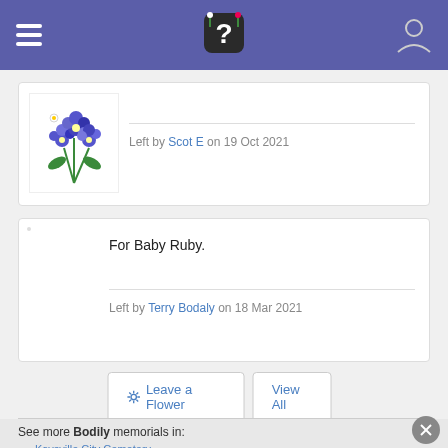Navigation bar with logo
[Figure (illustration): Blue/purple forget-me-not flowers illustration]
Left by Scot E on 19 Oct 2021
For Baby Ruby.
Left by Terry Bodaly on 18 Mar 2021
Leave a Flower
View All
See more Bodily memorials in:
Kaysville City Cemetery